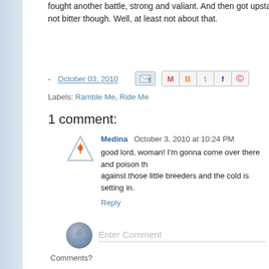fought another battle, strong and valiant.  And then got upstaged not bitter though.  Well, at least not about that.
- October 03, 2010
Labels: Ramble Me, Ride Me
1 comment:
Medina October 3, 2010 at 10:24 PM
good lord, woman! I'm gonna come over there and poison th... against those little breeders and the cold is setting in.
Reply
Enter Comment
Comments?